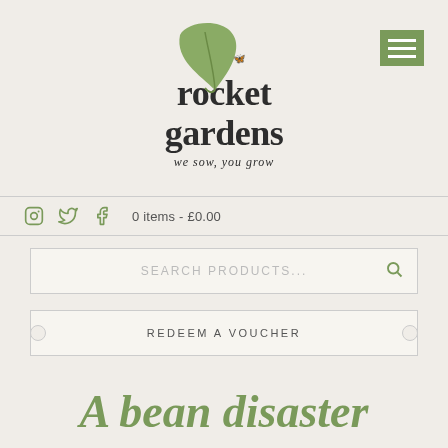[Figure (logo): Rocket Gardens logo with leaf illustration, brand name and tagline 'we sow, you grow']
[Figure (other): Hamburger menu button (three horizontal lines) on green background, top right corner]
0 items - £0.00
SEARCH PRODUCTS...
REDEEM A VOUCHER
A bean disaster